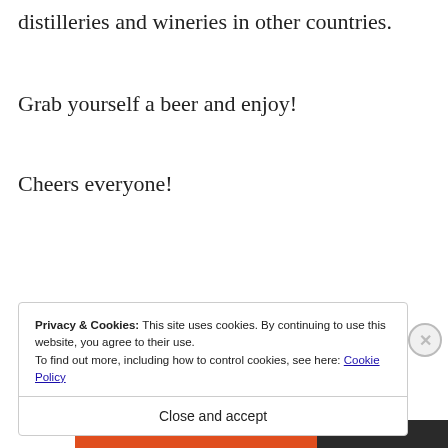distilleries and wineries in other countries.
Grab yourself a beer and enjoy!
Cheers everyone!
[Figure (screenshot): DuckDuckGo advertisement banner showing 'Search, browse, and email with more privacy. All in One Free App' with a phone showing the DuckDuckGo app logo]
REPORT THIS AD
Privacy & Cookies: This site uses cookies. By continuing to use this website, you agree to their use.
To find out more, including how to control cookies, see here: Cookie Policy
Close and accept